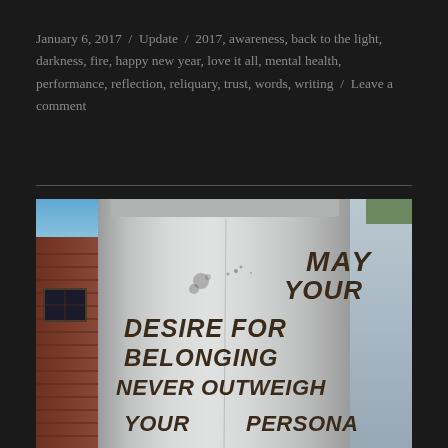January 6, 2017 / Update / 2017, awareness, back to the light, darkness, fire, happy new year, love it all, mental health, performance, reflection, reliquary, trust, words, writing / Leave a comment
[Figure (photo): Photograph of a large cylindrical tank or column with graffiti text reading 'MAY YOUR DESIRE FOR BELONGING NEVER OUTWEIGH YOUR PERSONA...' with brick wall on left and other structures visible]